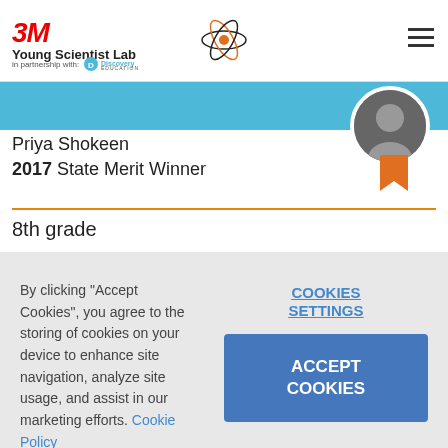3M Young Scientist Lab in partnership with Discovery Education
[Figure (logo): 3M Young Scientist Lab logo with atom icon and Discovery Education partnership text]
Priya Shokeen
2017 State Merit Winner
8th grade
By clicking "Accept Cookies", you agree to the storing of cookies on your device to enhance site navigation, analyze site usage, and assist in our marketing efforts. Cookie Policy
COOKIES SETTINGS
ACCEPT COOKIES